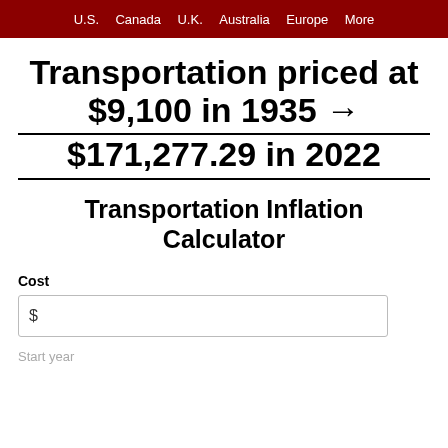U.S.  Canada  U.K.  Australia  Europe  More
Transportation priced at $9,100 in 1935 → $171,277.29 in 2022
Transportation Inflation Calculator
Cost
$
Start year